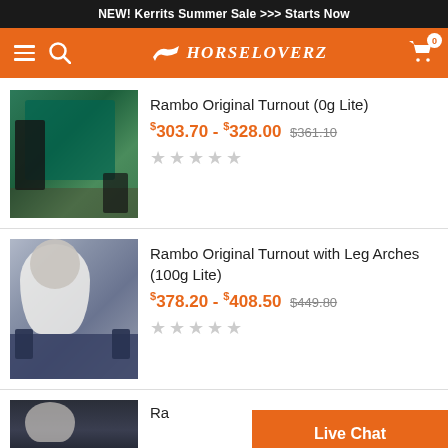NEW! Kerrits Summer Sale >>> Starts Now
[Figure (screenshot): HorseLoverZ navigation bar with hamburger menu, search icon, logo, and cart icon]
[Figure (photo): Horse wearing a teal/green turnout rug outdoors]
Rambo Original Turnout (0g Lite)
$303.70 - $328.00 $361.10
[Figure (other): 5-star rating widget showing 0 stars selected]
[Figure (photo): White horse wearing a navy blue turnout rug with leg arches]
Rambo Original Turnout with Leg Arches (100g Lite)
$378.20 - $408.50 $449.80
[Figure (other): 5-star rating widget showing 0 stars selected]
[Figure (photo): Partial view of a horse wearing a dark turnout rug]
Ra...
Live Chat